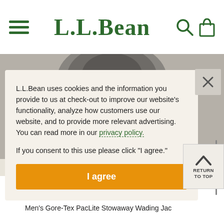L.L.Bean
L.L.Bean uses cookies and the information you provide to us at check-out to improve our website's functionality, analyze how customers use our website, and to provide more relevant advertising. You can read more in our privacy policy.

If you consent to this use please click "I agree."
I agree
[Figure (photo): Product photo of men's wading jacket, partially visible behind cookie consent modal]
Men's Gore-Tex PacLite Stowaway Wading Jac
RETURN TO TOP